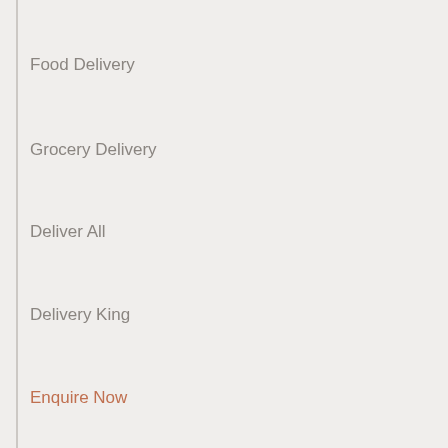Food Delivery
Grocery Delivery
Deliver All
Delivery King
Enquire Now
RECENT POSTS
How Can Gojek Clone App Help Businesses Make Lucrative Profits?
How Gojek Clone App Can Improve Your Brand Awareness & Market Repute